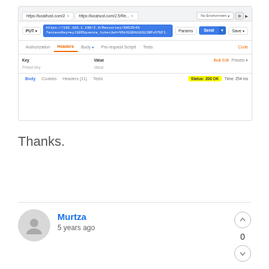[Figure (screenshot): Postman API client screenshot showing a PUT request with a highlighted URL containing an authorization token. The request bar shows the PUT method, a blue highlighted URL, Params, Send, and Save buttons. The inner tabs show Authorization, Headers (active, orange underline), Body with dot, Pre-request Script, and Tests. Headers section shows Key and Value columns with Bulk Edit and Presets options. Response section shows Body, Cookies, Headers (11), Tests tabs with a yellow Status: 200 OK badge and time info.]
Thanks.
Murtza
5 years ago
0